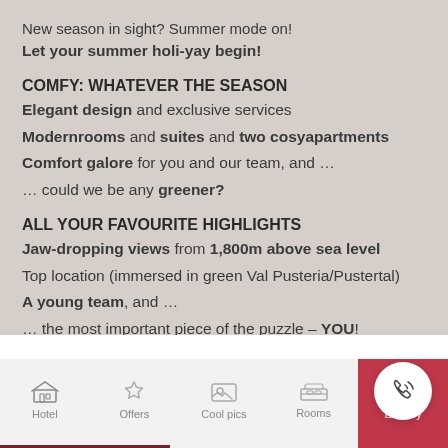New season in sight? Summer mode on!
Let your summer holi-yay begin!

COMFY: WHATEVER THE SEASON
Elegant design and exclusive services
Modernrooms and suites and two cosyapartments
Comfort galore for you and our team, and …
… could we be any greener?

ALL YOUR FAVOURITE HIGHLIGHTS
Jaw-dropping views from 1,800m above sea level
Top location (immersed in green Val Pusteria/Pustertal)
A young team, and …
… the most important piece of the puzzle – YOU!
[Figure (illustration): White area with phone/call icon button in bottom right corner]
Hotel | Offers | Cool pics | Rooms | Enquiry